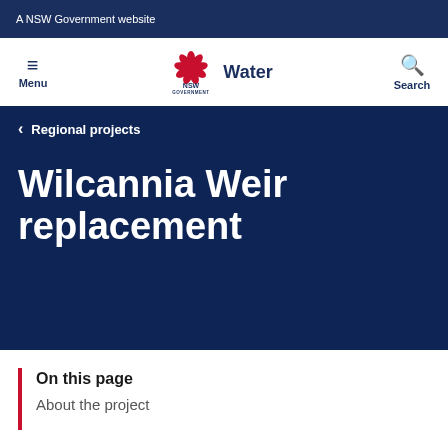A NSW Government website
[Figure (logo): NSW Government logo with red waratah flower and text NSW GOVERNMENT, alongside navigation menu and Water section label, and Search icon]
Regional projects
Wilcannia Weir replacement
On this page
About the project